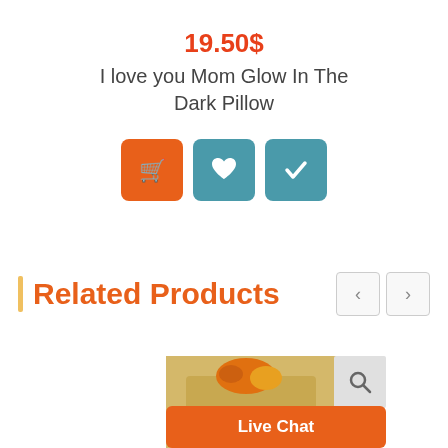19.50$
I love you Mom Glow In The Dark Pillow
[Figure (other): Three action buttons: orange shopping cart button, teal heart/wishlist button, teal checkmark button]
Related Products
[Figure (photo): Partial product thumbnail showing a gift basket with flowers, with a search icon overlay and Live Chat button at bottom]